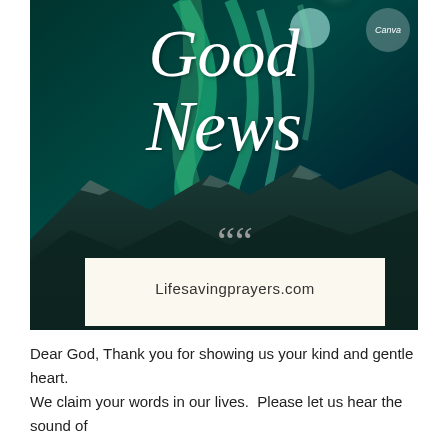[Figure (photo): Northern lights / aurora borealis over a snowy mountainous landscape at night, with teal and green hues in the sky. Overlaid with large script text 'Good News' in white italic font, a Canva watermark badge in the top right, quotation marks graphic, and a cream-colored quote box containing 'Lifesavingprayers.com'.]
Dear God, Thank you for showing us your kind and gentle heart. We claim your words in our lives. Please let us hear the sound of